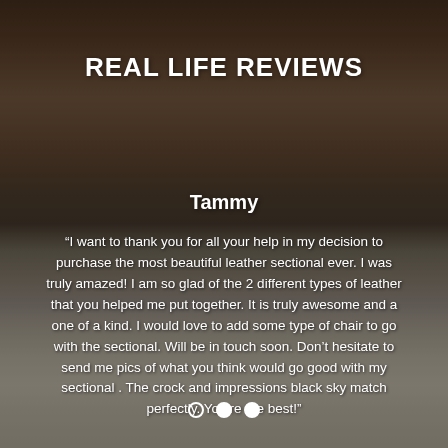[Figure (photo): Background photo of a furniture showroom featuring a large dark brown leather sectional sofa with decorative pillows, wooden coffee tables, and a plant visible in the background. The image is darkened with an overlay.]
REAL LIFE REVIEWS
Tammy
“I want to thank you for all your help in my decision to purchase the most beautiful leather sectional ever. I was truly amazed! I am so glad of the 2 different types of leather that you helped me put together. It is truly awesome and a one of a kind. I would love to add some type of chair to go with the sectional. Will be in touch soon. Don’t hesitate to send me pics of what you think would go good with my sectional . The crock and impressions black sky match perfectly. You’re the best!”